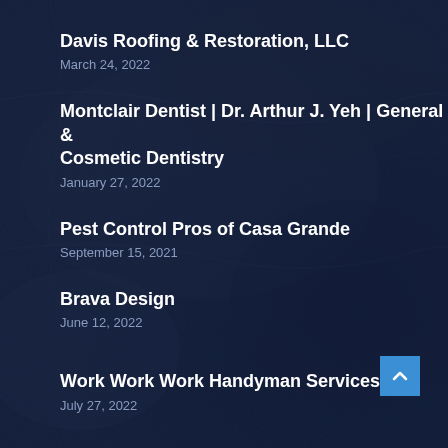Davis Roofing & Restoration, LLC
March 24, 2022
Montclair Dentist | Dr. Arthur J. Yeh | General & Cosmetic Dentistry
January 27, 2022
Pest Control Pros of Casa Grande
September 15, 2021
Brava Design
June 12, 2022
Work Work Work Handyman Services
July 27, 2022